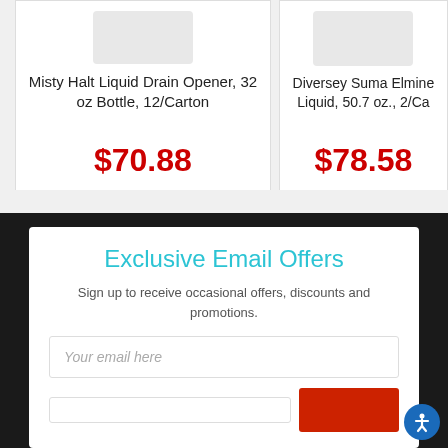Misty Halt Liquid Drain Opener, 32 oz Bottle, 12/Carton
$70.88
Diversey Suma Eliminate Liquid, 50.7 oz., 2/Ca...
$78.58
Exclusive Email Offers
Sign up to receive occasional offers, discounts and promotions.
Your email here